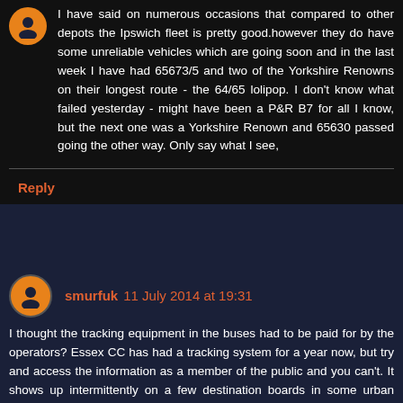I have said on numerous occasions that compared to other depots the Ipswich fleet is pretty good.however they do have some unreliable vehicles which are going soon and in the last week I have had 65673/5 and two of the Yorkshire Renowns on their longest route - the 64/65 lolipop. I don't know what failed yesterday - might have been a P&R B7 for all I know, but the next one was a Yorkshire Renown and 65630 passed going the other way. Only say what I see,
Reply
smurfuk 11 July 2014 at 19:31
I thought the tracking equipment in the buses had to be paid for by the operators? Essex CC has had a tracking system for a year now, but try and access the information as a member of the public and you can't. It shows up intermittently on a few destination boards in some urban areas, but more often not. Herts have a comprehensive